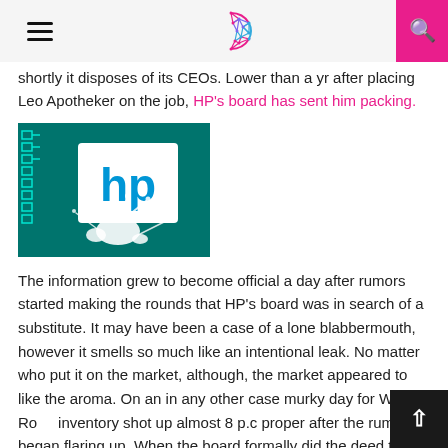[Hamburger menu] [C logo] [Search button]
shortly it disposes of its CEOs. Lower than a yr after placing Leo Apotheker on the job, HP's board has sent him packing.
[Figure (photo): HP logo on a teal/dark background with white paint splatter effect]
The information grew to become official a day after rumors started making the rounds that HP's board was in search of a substitute. It may have been a case of a lone blabbermouth, however it smells so much like an intentional leak. No matter who put it on the market, although, the market appeared to like the aroma. On an in any other case murky day for Wall Ro... inventory shot up almost 8 p.c proper after the rumors began flaring up. When the board formally did the deed the subsequent